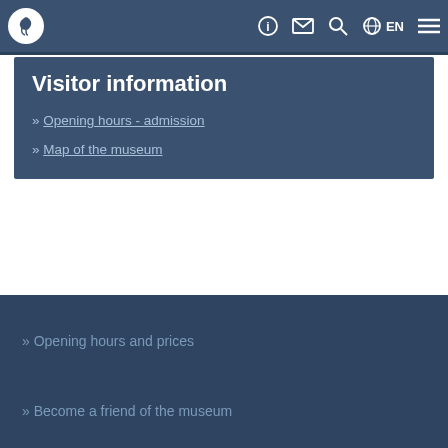[Figure (logo): Museum logo - white circular icon with bird/figure silhouette on dark steel-blue background]
ⓘ ✉ 🔍 🌐 EN ≡
Visitor information
» Opening hours - admission
» Map of the museum
» Opening hours and prices
» Become a friend of the museum